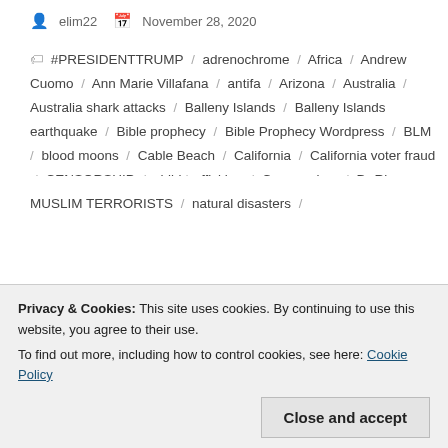elim22   November 28, 2020
#PRESIDENTTRUMP / adrenochrome / Africa / Andrew Cuomo / Ann Marie Villafana / antifa / Arizona / Australia / Australia shark attacks / Balleny Islands / Balleny Islands earthquake / Bible prophecy / Bible Prophecy Wordpress / BLM / blood moons / Cable Beach / California / California voter fraud / CENSORSHIP / child trafficking / Communism / Dr Rima Laibow / earthquake stats / end times prophecy / extreme cold hot weather prophecy / Extreme Weather Reports / fireballs / floods / Florida / Georgia / Georgia election fraud / Glendale /
Privacy & Cookies: This site uses cookies. By continuing to use this website, you agree to their use. To find out more, including how to control cookies, see here: Cookie Policy
Close and accept
MUSLIM TERRORISTS / natural disasters /